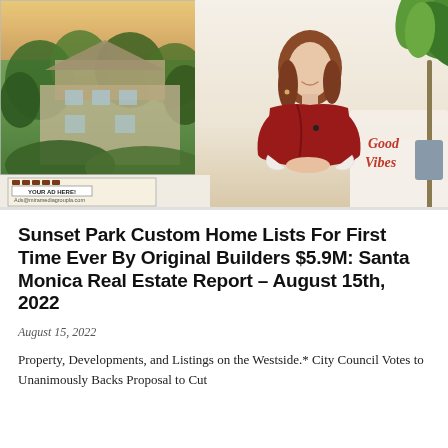[Figure (photo): Composite image: left side shows aerial/drone photo of a large custom home surrounded by trees; right side shows a woman presenter in a red wrap dress seated in a bright room with a 'Good Vibes' pillow and plant; bottom left has an advertisement box reading 'YOUR AD HERE! Ads@miramediagroupla.com']
Sunset Park Custom Home Lists For First Time Ever By Original Builders $5.9M: Santa Monica Real Estate Report – August 15th, 2022
August 15, 2022
Property, Developments, and Listings on the Westside.* City Council Votes to Unanimously Backs Proposal to Cut